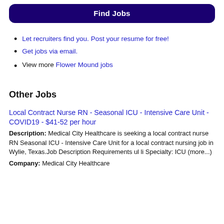Find Jobs
Let recruiters find you. Post your resume for free!
Get jobs via email.
View more Flower Mound jobs
Other Jobs
Local Contract Nurse RN - Seasonal ICU - Intensive Care Unit - COVID19 - $41-52 per hour
Description: Medical City Healthcare is seeking a local contract nurse RN Seasonal ICU - Intensive Care Unit for a local contract nursing job in Wylie, Texas.Job Description Requirements ul li Specialty: ICU (more...)
Company: Medical City Healthcare